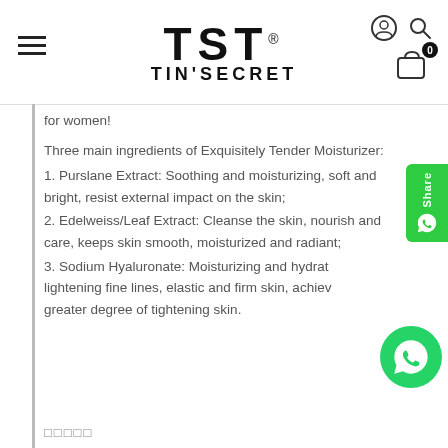[Figure (logo): TST TIN'SECRET logo with hamburger menu, user/search icons and cart badge showing 0]
for women!
Three main ingredients of Exquisitely Tender Moisturizer:
1. Purslane Extract: Soothing and moisturizing, soft and bright, resist external impact on the skin;
2. Edelweiss/Leaf Extract: Cleanse the skin, nourish and care, keeps skin smooth, moisturized and radiant;
3. Sodium Hyaluronate: Moisturizing and hydrating, lightening fine lines, elastic and firm skin, achieve a greater degree of tightening skin.
□□□□□